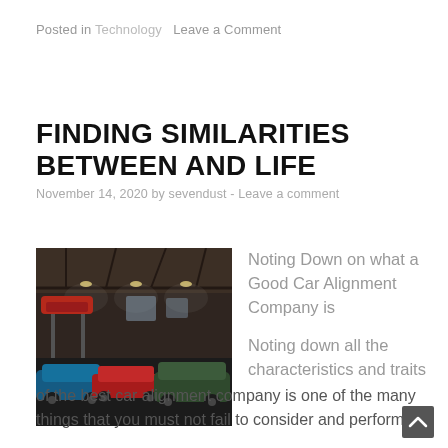Posted in Technology   Leave a Comment
FINDING SIMILARITIES BETWEEN AND LIFE
November 14, 2020 by sevendust - Leave a comment
[Figure (photo): Interior of an auto repair garage with multiple classic and vintage cars parked on the floor and on lifts, industrial ceiling with lights.]
Noting Down on what a Good Car Alignment Company is
Noting down all the characteristics and traits of the best car alignment company is one of the many things that you must not fail to consider and perform. If